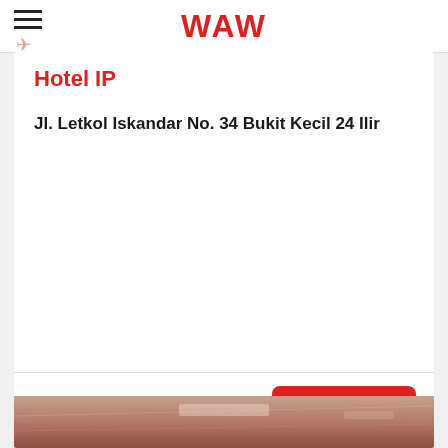WAW
Hotel IP
Jl. Letkol Iskandar No. 34 Bukit Kecil 24 Ilir
From $14 Per Night
[Figure (photo): Interior photo of hotel room ceiling/corridor with warm lighting]
Book Now